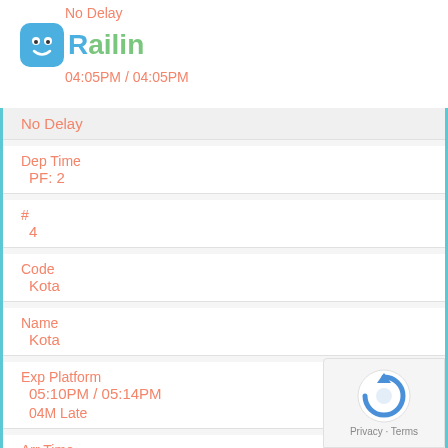No Delay
[Figure (logo): Railin app logo: blue rounded square with smiley face and 'Railin' text]
04:05PM / 04:05PM
No Delay
Dep Time
PF: 2
#
4
Code
Kota
Name
Kota
Exp Platform
05:10PM / 05:14PM
04M Late
Arr Time
05:20PM / 05:24PM
04M Late
[Figure (other): Google reCAPTCHA privacy badge with 'Privacy · Terms' text]